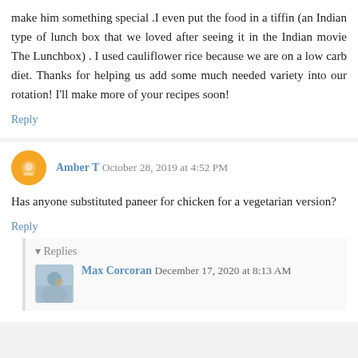make him something special .I even put the food in a tiffin (an Indian type of lunch box that we loved after seeing it in the Indian movie The Lunchbox) . I used cauliflower rice because we are on a low carb diet. Thanks for helping us add some much needed variety into our rotation! I'll make more of your recipes soon!
Reply
Amber T  October 28, 2019 at 4:52 PM
Has anyone substituted paneer for chicken for a vegetarian version?
Reply
▾ Replies
Max Corcoran  December 17, 2020 at 8:13 AM